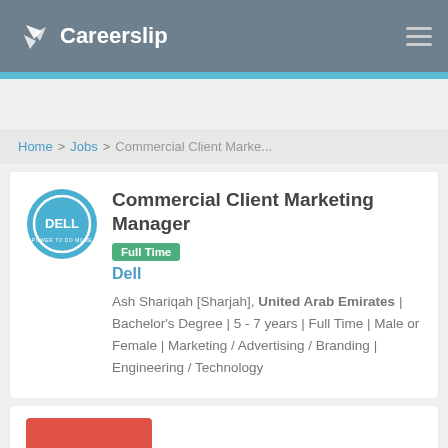Careerslip
Home > Jobs > Commercial Client Marke...
Commercial Client Marketing Manager Full Time
Dell
Ash Shariqah [Sharjah], United Arab Emirates | Bachelor's Degree | 5 - 7 years | Full Time | Male or Female | Marketing / Advertising / Branding | Engineering / Technology